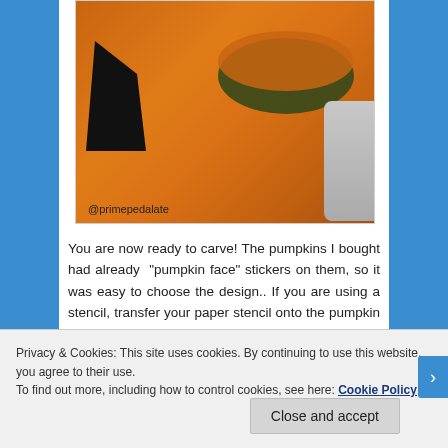[Figure (photo): Close-up photo of an orange pumpkin with carved/cut triangular eye shapes and a grey object in the lower right. Watermark '@primepedalate' in bottom left corner.]
You are now ready to carve! The pumpkins I bought had already  "pumpkin face" stickers on them, so it was easy to choose the design.. If you are using a stencil, transfer your paper stencil onto the pumpkin and trace the design by poking holes with a skewer or a sharp tool.
Privacy & Cookies: This site uses cookies. By continuing to use this website, you agree to their use.
To find out more, including how to control cookies, see here: Cookie Policy